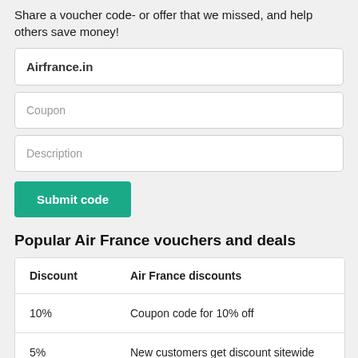Share a voucher code- or offer that we missed, and help others save money!
Airfrance.in
Coupon
Description
Submit code
Popular Air France vouchers and deals
| Discount | Air France discounts |
| --- | --- |
| 10% | Coupon code for 10% off |
| 5% | New customers get discount sitewide |